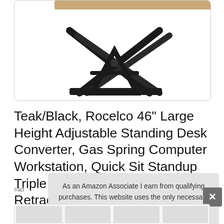[Figure (photo): Product photo of a Rocelco 46 inch standing desk converter with black metal X-frame scissor mechanism visible at the bottom, shown against white background]
Teak/Black, Rocelco 46" Large Height Adjustable Standing Desk Converter, Gas Spring Computer Workstation, Quick Sit Standup Triple Monitor Riser, R DADRT-46, Retractable Keyboard Tray
#ad
As an Amazon Associate I earn from qualifying purchases. This website uses the only necessary cookies to ensure you get the best experience on our website. More information